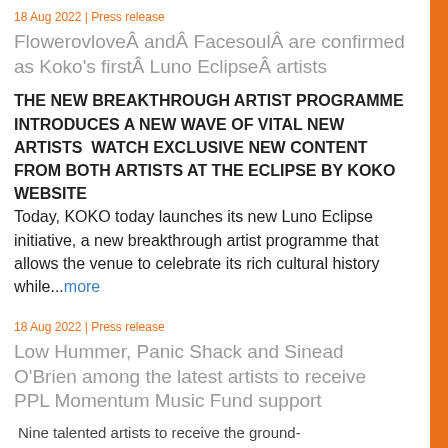18 Aug 2022 | Press release
FlowerovloveÂ andÂ FacesoulÂ are confirmed as Koko's firstÂ Luno EclipseÂ artists
THE NEW BREAKTHROUGH ARTIST PROGRAMME INTRODUCES A NEW WAVE OF VITAL NEW ARTISTS  WATCH EXCLUSIVE NEW CONTENT FROM BOTH ARTISTS AT THE ECLIPSE BY KOKO WEBSITE Today, KOKO today launches its new Luno Eclipse initiative, a new breakthrough artist programme that allows the venue to celebrate its rich cultural history while...more
18 Aug 2022 | Press release
Low Hummer, Panic Shack and Sinead O'Brien among the latest artists to receive PPL Momentum Music Fund support
Nine talented artists to receive the ground-